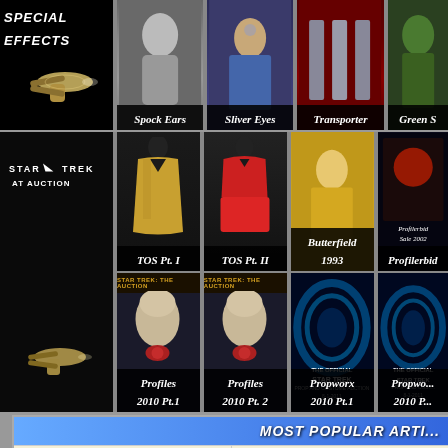[Figure (screenshot): Top left: Special Effects panel with Enterprise spaceship on black background, italic bold text 'SPECIAL EFFECTS']
[Figure (screenshot): Spock Ears - black and white photo of actor having ears applied]
[Figure (screenshot): Silver Eyes - woman in blue Star Trek uniform looking up]
[Figure (screenshot): Transporter - people standing in transporter room]
[Figure (screenshot): Green Skin - green alien character]
[Figure (screenshot): Middle-left: Star Trek at Auction panel with Enterprise ship and logo]
[Figure (screenshot): TOS Pt. I - gold command uniform on mannequin]
[Figure (screenshot): TOS Pt. II - red dress uniform on mannequin]
[Figure (screenshot): Butterfield 1993 - yellow uniform photo]
[Figure (screenshot): Profilerbid 2002 - auction catalog cover]
[Figure (screenshot): Profiles 2010 Pt.1 - alien head bust on dark background]
[Figure (screenshot): Profiles 2010 Pt.2 - alien head bust on dark background]
[Figure (screenshot): Propworx 2010 Pt.1 - blue swirl Star Trek auction]
[Figure (screenshot): Propworx 2010 Pt.2 - blue swirl Star Trek auction]
MOST POPULAR ARTI...
- Star Trek TOS At Auction Part I
- Gurian Collection Highlight...